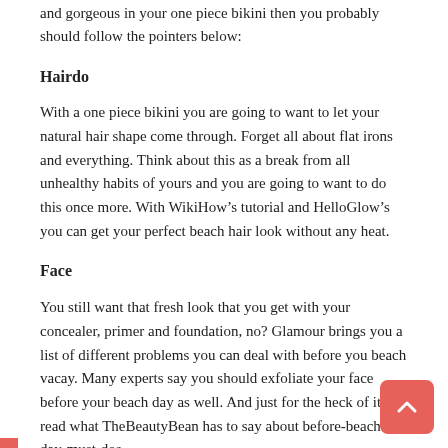and gorgeous in your one piece bikini then you probably should follow the pointers below:
Hairdo
With a one piece bikini you are going to want to let your natural hair shape come through. Forget all about flat irons and everything. Think about this as a break from all unhealthy habits of yours and you are going to want to do this once more. With WikiHow’s tutorial and HelloGlow’s you can get your perfect beach hair look without any heat.
Face
You still want that fresh look that you get with your concealer, primer and foundation, no? Glamour brings you a list of different problems you can deal with before you beach vacay. Many experts say you should exfoliate your face before your beach day as well. And just for the heck of it, read what TheBeautyBean has to say about before-beach-day-must-dos.